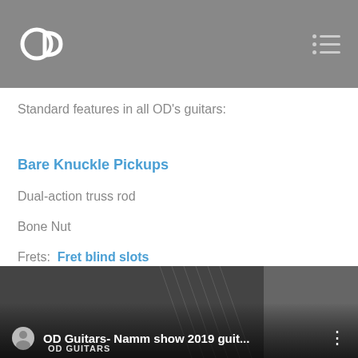OD Guitars logo and navigation
Standard features in all OD's guitars:
Bare Knuckle Pickups
Dual-action truss rod
Bone Nut
Frets:  Fret blind slots
Constant communication with me
[Figure (screenshot): Video thumbnail showing OD Guitars- Namm show 2019 guit... with guitar image and OD GUITARS branding]